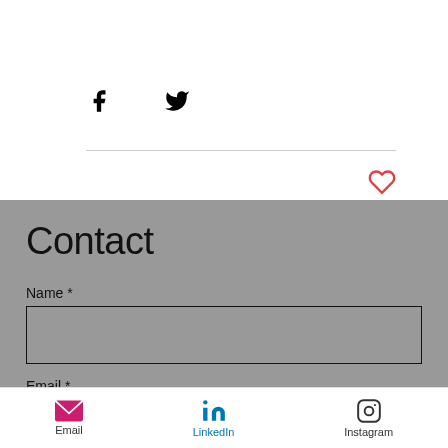[Figure (illustration): Social share icons: Facebook (f) and Twitter bird icon]
[Figure (illustration): Heart outline icon in red/coral color for liking content]
Contact
Name *
Email *
[Figure (illustration): Scroll to top button: circular white button with up chevron]
Email  LinkedIn  Instagram